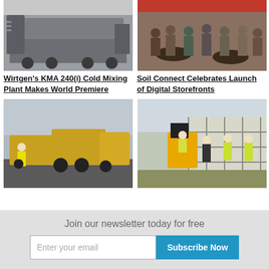[Figure (photo): Industrial cold mixing plant machine on a trailer]
[Figure (photo): Crowded indoor event with people sitting at tables with red wall background]
Wirtgen's KMA 240(i) Cold Mixing Plant Makes World Premiere
Soil Connect Celebrates Launch of Digital Storefronts
[Figure (photo): Construction workers with road paving/milling equipment on a road]
[Figure (photo): Workers in safety vests discussing near a fence, one seated on equipment]
Join our newsletter today for free